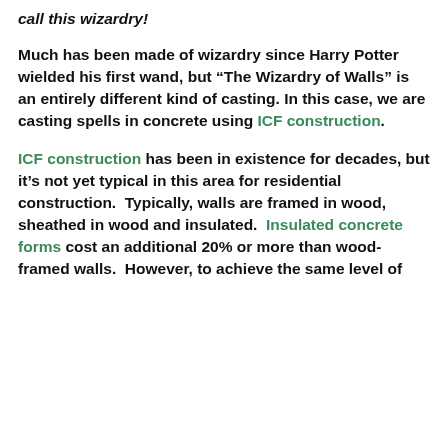call this wizardry!
Much has been made of wizardry since Harry Potter wielded his first wand, but “The Wizardry of Walls” is an entirely different kind of casting. In this case, we are casting spells in concrete using ICF construction.
ICF construction has been in existence for decades, but it’s not yet typical in this area for residential construction. Typically, walls are framed in wood, sheathed in wood and insulated. Insulated concrete forms cost an additional 20% or more than wood-framed walls. However, to achieve the same level of insulation, you would have to add...